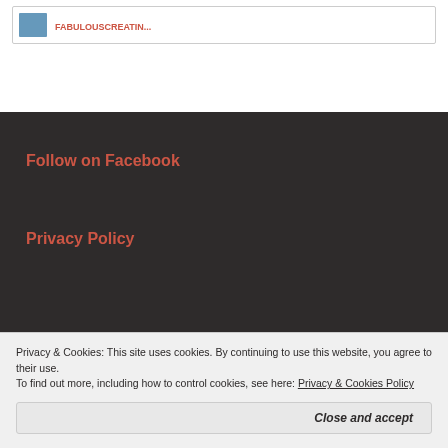[Figure (screenshot): Small thumbnail image of a person in the top card]
FABULOUSCREATIN...
Follow on Facebook
Privacy Policy
Privacy & Cookies: This site uses cookies. By continuing to use this website, you agree to their use.
To find out more, including how to control cookies, see here: Privacy & Cookies Policy
Close and accept